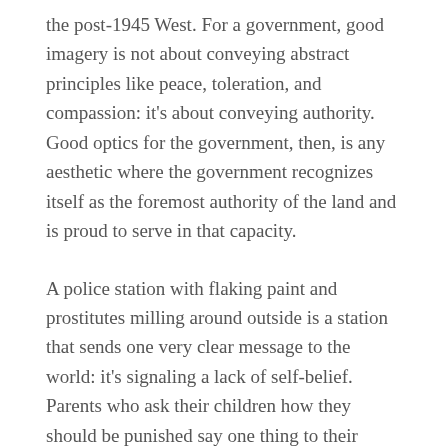the post-1945 West. For a government, good imagery is not about conveying abstract principles like peace, toleration, and compassion: it's about conveying authority. Good optics for the government, then, is any aesthetic where the government recognizes itself as the foremost authority of the land and is proud to serve in that capacity.
A police station with flaking paint and prostitutes milling around outside is a station that sends one very clear message to the world: it's signaling a lack of self-belief. Parents who ask their children how they should be punished say one thing to their children: they are saying that they don't believe in themselves.
It becomes clear after some reflection that the left and right differ in how much they believe in themselves.